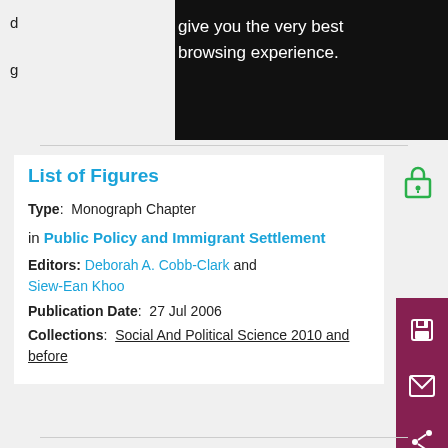give you the very best browsing experience.
List of Figures
Type:  Monograph Chapter
in Public Policy and Immigrant Settlement
Editors: Deborah A. Cobb-Clark and Siew-Ean Khoo
Publication Date:  27 Jul 2006
Collections:  Social And Political Science 2010 and before